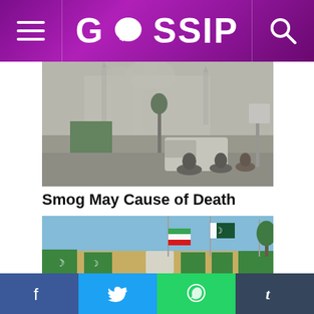GOSSIP
[Figure (photo): Smoggy street scene with a mosque visible in the hazy background, vehicles and motorcycles on the road]
Smog May Cause of Death
[Figure (photo): Government building with multiple flags including the Pakistani flag flying against a clear blue sky]
Facebook | Twitter | WhatsApp | Tumblr social share bar